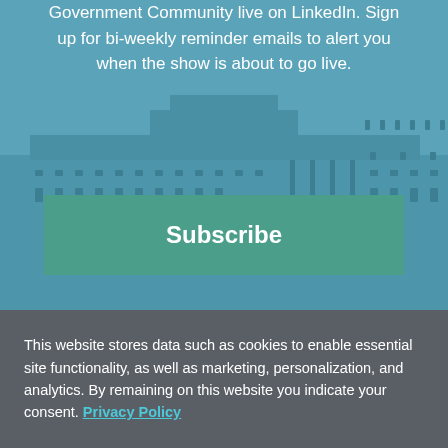[Figure (illustration): Teal/blue background with a stylized government building illustration (Capitol or similar), with rows of windows and architectural details rendered in slightly darker teal tones.]
Government Community live on LinkedIn. Sign up for bi-weekly reminder emails to alert you when the show is about to go live.
Subscribe
This website stores data such as cookies to enable essential site functionality, as well as marketing, personalization, and analytics. By remaining on this website you indicate your consent. Privacy Policy